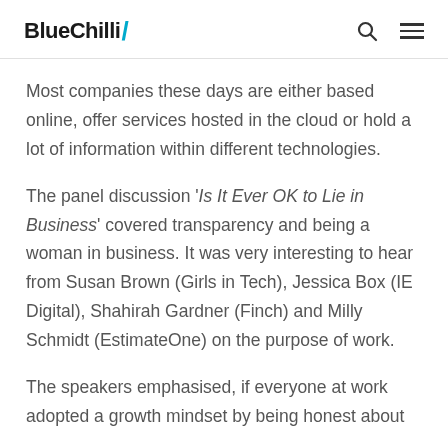BlueChilli
Most companies these days are either based online, offer services hosted in the cloud or hold a lot of information within different technologies.
The panel discussion 'Is It Ever OK to Lie in Business' covered transparency and being a woman in business. It was very interesting to hear from Susan Brown (Girls in Tech), Jessica Box (IE Digital), Shahirah Gardner (Finch) and Milly Schmidt (EstimateOne) on the purpose of work.
The speakers emphasised, if everyone at work adopted a growth mindset by being honest about